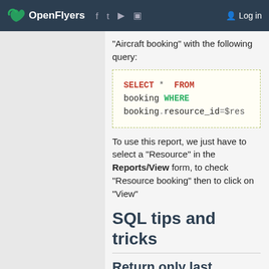OpenFlyers | Log in
"Aircraft booking" with the following query:
[Figure (screenshot): Code block showing SQL query: SELECT * FROM booking WHERE booking.resource_id=$res]
To use this report, we just have to select a "Resource" in the Reports/View form, to check "Resource booking" then to click on "View"
SQL tips and tricks
Return only last entry